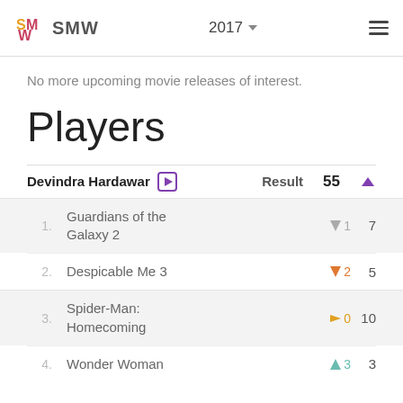SMW  2017  ☰
No more upcoming movie releases of interest.
Players
| # | Movie | Result | Score |
| --- | --- | --- | --- |
| 1. | Guardians of the Galaxy 2 | ▼1 | 7 |
| 2. | Despicable Me 3 | ▼2 | 5 |
| 3. | Spider-Man: Homecoming | ▶0 | 10 |
| 4. | Wonder Woman | ▲3 | 3 |